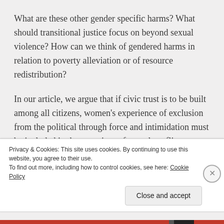What are these other gender specific harms? What should transitional justice focus on beyond sexual violence? How can we think of gendered harms in relation to poverty alleviation or of resource redistribution?
In our article, we argue that if civic trust is to be built among all citizens, women's experience of exclusion from the political through force and intimidation must be included in the narratives of armed conflict, political
Privacy & Cookies: This site uses cookies. By continuing to use this website, you agree to their use.
To find out more, including how to control cookies, see here: Cookie Policy

Close and accept